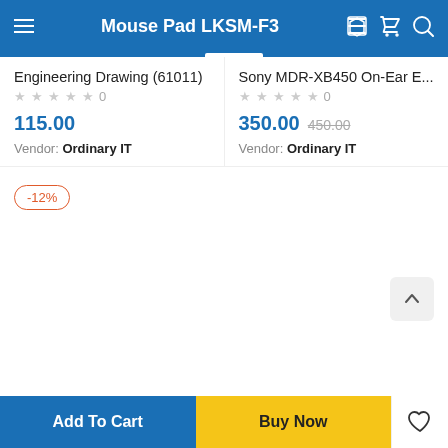Mouse Pad LKSM-F3
Engineering Drawing (61011)
★★★★★ 0
115.00
Vendor: Ordinary IT
Sony MDR-XB450 On-Ear E...
★★★★★ 0
350.00 450.00
Vendor: Ordinary IT
-12%
Add To Cart
Buy Now